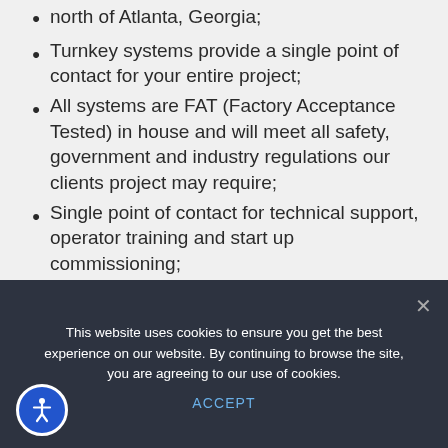north of Atlanta, Georgia;
Turnkey systems provide a single point of contact for your entire project;
All systems are FAT (Factory Acceptance Tested) in house and will meet all safety, government and industry regulations our clients project may require;
Single point of contact for technical support, operator training and start up commissioning;
Complete set of manuals for every piece of equipment and system;
Reduced installation and start up time – ready to move product shortly after
This website uses cookies to ensure you get the best experience on our website. By continuing to browse the site, you are agreeing to our use of cookies.
ACCEPT